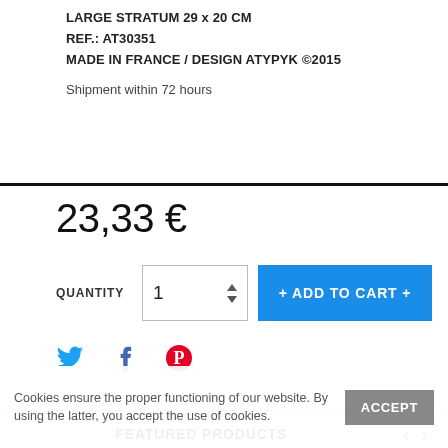LARGE STRATUM 29 x 20 CM
REF.: AT30351
MADE IN FRANCE / DESIGN ATYPYK ©2015
Shipment within 72 hours
23,33 €
QUANTITY  1  + ADD TO CART +
[Figure (infographic): Social share icons: Twitter (blue bird), Facebook (blue f), Pinterest (red P circle)]
FEATURED PRODUCTS
[Figure (photo): Two product thumbnail images partially visible at the bottom of the page]
Cookies ensure the proper functioning of our website. By using the latter, you accept the use of cookies.